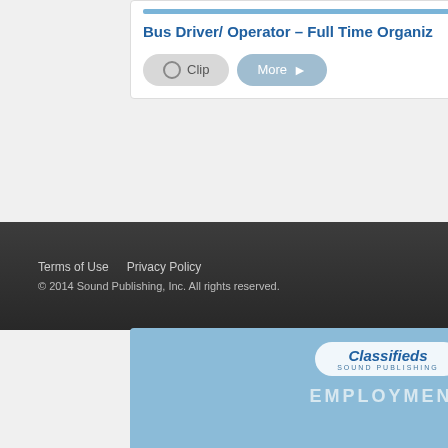Bus Driver/ Operator – Full Time Organiz
Clip   More
[Figure (screenshot): Classifieds Sound Publishing banner with Employment heading in blue]
< Back To Search Results
First  Prev  Page 1 of 1  Next  Last
MAINTENANCE PERSON-ELMA Seeking a part-t
Terms of Use    Privacy Policy
© 2014 Sound Publishing, Inc. All rights reserved.
[Figure (screenshot): Classifieds Sound Publishing Employment banner repeated at bottom]